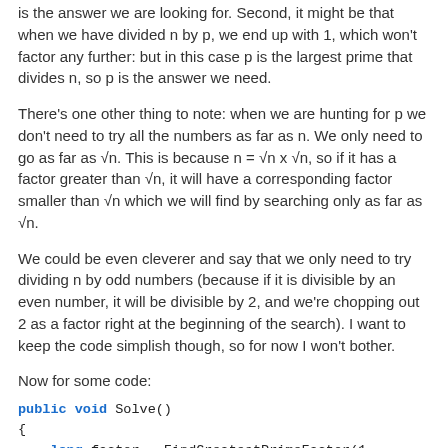is the answer we are looking for. Second, it might be that when we have divided n by p, we end up with 1, which won't factor any further: but in this case p is the largest prime that divides n, so p is the answer we need.
There's one other thing to note: when we are hunting for p we don't need to try all the numbers as far as n. We only need to go as far as √n. This is because n = √n x √n, so if it has a factor greater than √n, it will have a corresponding factor smaller than √n which we will find by searching only as far as √n.
We could be even cleverer and say that we only need to try dividing n by odd numbers (because if it is divisible by an even number, it will be divisible by 2, and we're chopping out 2 as a factor right at the beginning of the search). I want to keep the code simplish though, so for now I won't bother.
Now for some code:
public void Solve()
{
    long factor = FindGreatestPrimeFactor(1, 60085147514
    Console.WriteLine(factor);